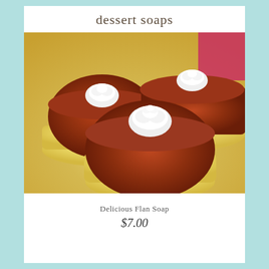dessert soaps
[Figure (photo): Three flan-shaped soaps arranged on a light wooden surface. Each soap has a cream/yellow base layer topped with a translucent amber-brown caramel layer, and decorated with a white swirled cream topping. The background includes a magenta/pink accent.]
Delicious Flan Soap
$7.00